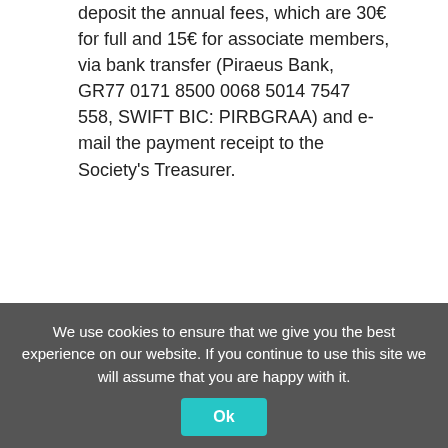deposit the annual fees, which are 30€ for full and 15€ for associate members, via bank transfer (Piraeus Bank,  GR77 0171 8500 0068 5014 7547 558, SWIFT BIC: PIRBGRAA) and e-mail the payment receipt to the Society's Treasurer.
Member Application Form
All registered members are kindly reminded to take care of their annual dues on a regular basis.
Contact info:  Danae Venieri (info@mikrobiokosmos.org),
Secretary: Savvas Genitsaris
We use cookies to ensure that we give you the best experience on our website. If you continue to use this site we will assume that you are happy with it.
Ok